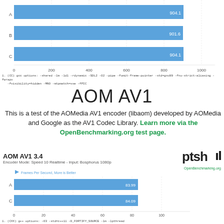[Figure (bar-chart): ]
1. (CC) gcc options: -shared -lm -ldl -rdynamic -SDL2 -O2 -pipe -fomit-frame-pointer -std=gnu99 -fno-strict-aliasing -fwrapv -fvisibility=hidden -MNO -mtpmatch=sse -fPIC
AOM AV1
This is a test of the AOMedia AV1 encoder (libaom) developed by AOMedia and Google as the AV1 Codec Library. Learn more via the OpenBenchmarking.org test page.
AOM AV1 3.4
Encoder Mode: Speed 10 Realtime - Input: Bosphorus 1080p
[Figure (bar-chart): Frames Per Second, More is Better]
1. (CXX) g++ options: -O3 -std=c++11 -D_FORTIFY_SOURCE -lm -lpthread